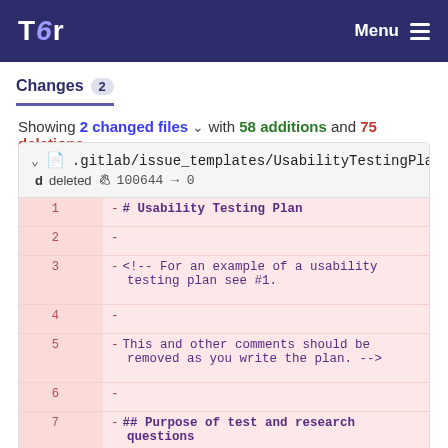Tor  Menu
Changes 2
Showing 2 changed files with 58 additions and 75 deletions
| line | code |
| --- | --- |
| 1 | - # Usability Testing Plan |
| 2 | - |
| 3 | - <!-- For an example of a usability testing plan see #1. |
| 4 | - |
| 5 | - This and other comments should be removed as you write the plan. --> |
| 6 | - |
| 7 | - ## Purpose of test and research questions |
| 8 | - |
| 9 | - <!-- The research question should |